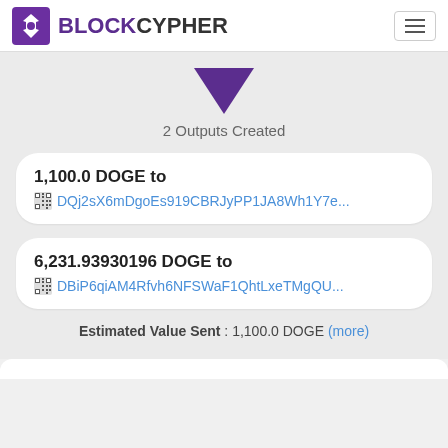BLOCKCYPHER
[Figure (illustration): Purple downward-pointing triangle arrow indicating outputs]
2 Outputs Created
1,100.0 DOGE to DQj2sX6mDgoEs919CBRJyPP1JA8Wh1Y7e...
6,231.93930196 DOGE to DBiP6qiAM4Rfvh6NFSWaF1QhtLxeTMgQU...
Estimated Value Sent : 1,100.0 DOGE (more)